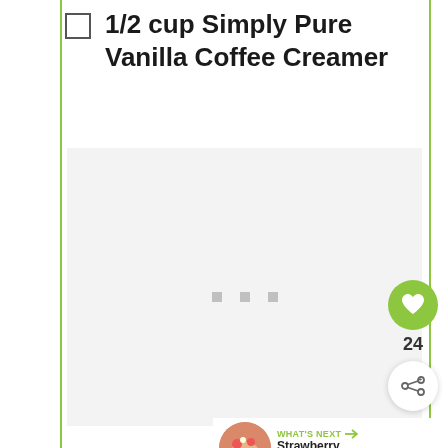1/2 cup Simply Pure Vanilla Coffee Creamer
[Figure (photo): Loading placeholder image area (light gray rectangle with three small gray dots centered, indicating content loading)]
[Figure (infographic): Social interaction UI overlay: green heart/favorite button with count 24, share button, and 'WHAT'S NEXT' card showing a Strawberry Banana... recipe thumbnail]